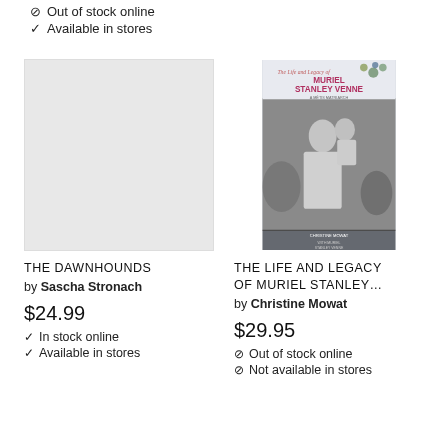Out of stock online
Available in stores
[Figure (photo): Blank/placeholder gray book cover for The Dawnhounds]
THE DAWNHOUNDS
by Sascha Stronach
$24.99
In stock online
Available in stores
[Figure (photo): Book cover of The Life and Legacy of Muriel Stanley Venne showing a black and white photo of a woman holding a baby, with title text and floral decoration at top]
THE LIFE AND LEGACY OF MURIEL STANLEY…
by Christine Mowat
$29.95
Out of stock online
Not available in stores